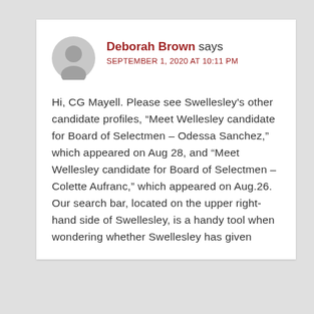Deborah Brown says
SEPTEMBER 1, 2020 AT 10:11 PM
Hi, CG Mayell. Please see Swellesley's other candidate profiles, “Meet Wellesley candidate for Board of Selectmen – Odessa Sanchez,” which appeared on Aug 28, and “Meet Wellesley candidate for Board of Selectmen – Colette Aufranc,” which appeared on Aug.26. Our search bar, located on the upper right-hand side of Swellesley, is a handy tool when wondering whether Swellesley has given